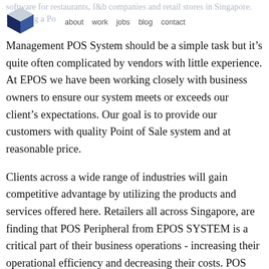software for restaurants, f&b companies and retail stores in Singapore. Selecting a Point of Sale | about  work  jobs  blog  contact
Management POS System should be a simple task but it’s quite often complicated by vendors with little experience. At EPOS we have been working closely with business owners to ensure our system meets or exceeds our client’s expectations. Our goal is to provide our customers with quality Point of Sale system and at reasonable price.
Clients across a wide range of industries will gain competitive advantage by utilizing the products and services offered here. Retailers all across Singapore, are finding that POS Peripheral from EPOS SYSTEM is a critical part of their business operations - increasing their operational efficiency and decreasing their costs. POS Peripheral products we carry include barcode scanners, barcode printers and receipt printers as well as cash drawers and more...